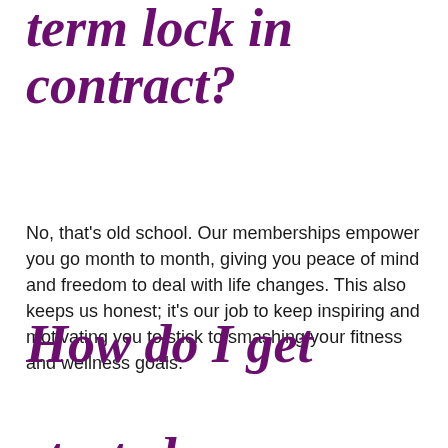term lock in contract?
No, that's old school. Our memberships empower you go month to month, giving you peace of mind and freedom to deal with life changes. This also keeps us honest; it's our job to keep inspiring and motivating you to stick to smashing your fitness and wellness goals.
How do I get started on a membership at